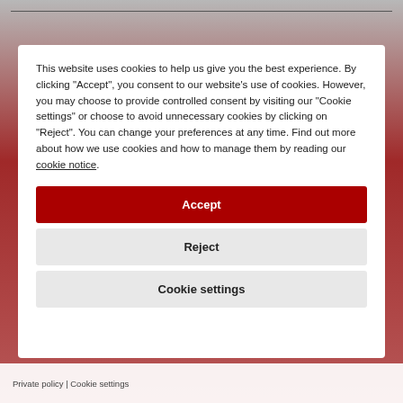This website uses cookies to help us give you the best experience. By clicking "Accept", you consent to our website's use of cookies. However, you may choose to provide controlled consent by visiting our "Cookie settings" or choose to avoid unnecessary cookies by clicking on "Reject". You can change your preferences at any time. Find out more about how we use cookies and how to manage them by reading our cookie notice.
Accept
Reject
Cookie settings
Private policy | Cookie settings